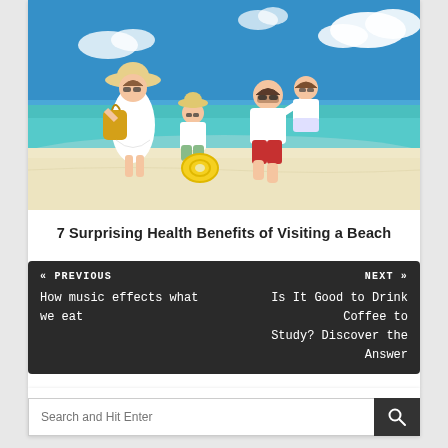[Figure (photo): Family of four on a beach — woman in white dress and sun hat with yellow bag, boy in white shirt, man in white shirt and red shorts holding a small girl; boy holds a yellow inflatable ring; turquoise ocean and blue sky with clouds in background]
7 Surprising Health Benefits of Visiting a Beach
« PREVIOUS
How music effects what we eat
NEXT »
Is It Good to Drink Coffee to Study? Discover the Answer
Search and Hit Enter